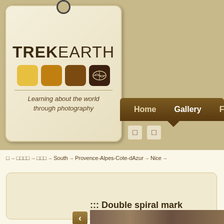[Figure (logo): TrekEarth logo tag with colored squares and world icon, tagline: Learning about the world through photography]
Home   Gallery   Forums   C...
□□
□→  □□□□→  □□□→  South→  Provence-Alpes-Cote-dAzur→  Nice→
::: Double spiral mark...